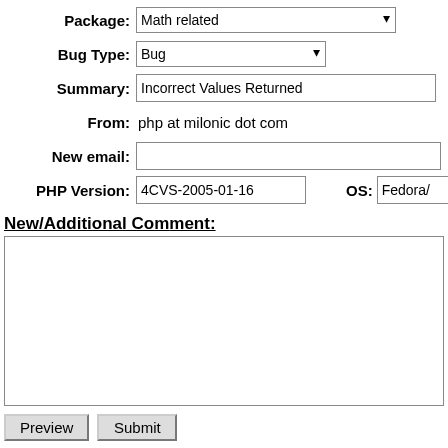Package: Math related
Bug Type: Bug
Summary: Incorrect Values Returned
From: php at milonic dot com
New email:
PHP Version: 4CVS-2005-01-16   OS: Fedora/
New/Additional Comment:
[2005-01-16 12:59 UTC] php at milonic dot com
Description:
------------
Values returned using the following code produce differ